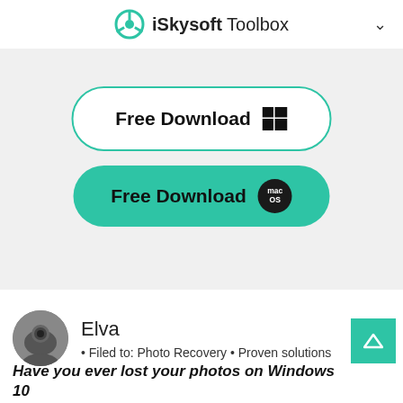iSkysoft Toolbox
[Figure (screenshot): Free Download button for Windows with teal outline border]
[Figure (screenshot): Free Download button for macOS with teal background]
[Figure (photo): Circular avatar photo of Elva holding a camera]
Elva
• Filed to: Photo Recovery • Proven solutions
Have you ever lost your photos on Windows 10